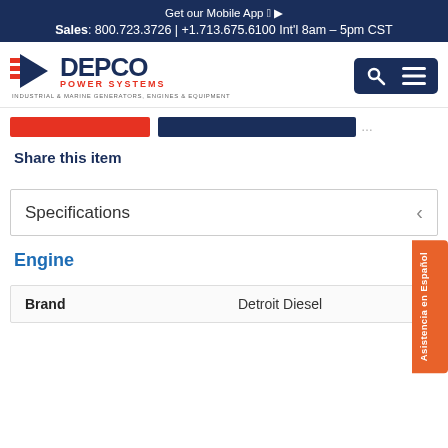Get our Mobile App
Sales: 800.723.3726 | +1.713.675.6100 Int'l 8am – 5pm CST
[Figure (logo): Depco Power Systems logo — industrial & marine generators, engines & equipment]
Share this item
Specifications
Engine
| Brand |  |
| --- | --- |
| Brand | Detroit Diesel |